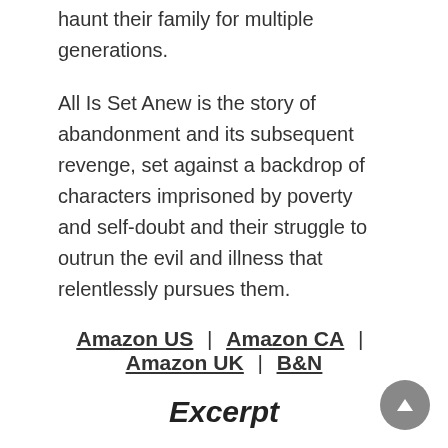haunt their family for multiple generations.
All Is Set Anew is the story of abandonment and its subsequent revenge, set against a backdrop of characters imprisoned by poverty and self-doubt and their struggle to outrun the evil and illness that relentlessly pursues them.
Amazon US | Amazon CA | Amazon UK | B&N
Excerpt
That afternoon Mary found Edgar at the hog pens and she told him that she wanted to speak with him after supper. She spent the rest of the day packing suitcases for her husband and tidying things around the house. LoLo moved about the rooms silently and Mary worried that her decision was poorly chosen each time the